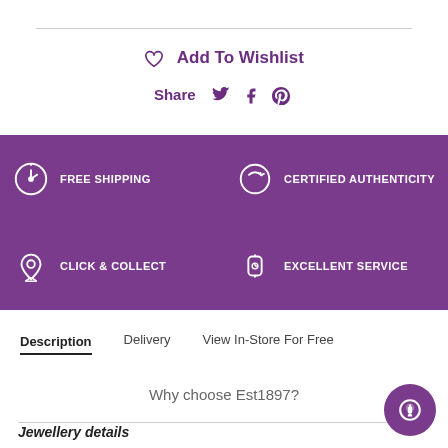♡ Add To Wishlist
Share [twitter] [facebook] [pinterest]
[Figure (infographic): Purple banner with 4 icons and labels: FREE SHIPPING (stopwatch icon), CERTIFIED AUTHENTICITY (refresh/circle icon), CLICK & COLLECT (location pin icon), EXCELLENT SERVICE (watch icon)]
Description | Delivery | View In-Store For Free
Why choose Est1897?
Jewellery details